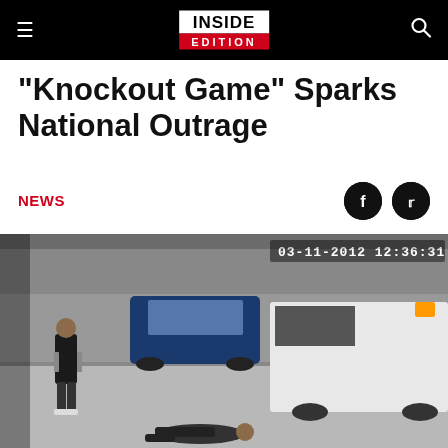Inside Edition - Navigation bar with hamburger menu, Inside Edition logo, and search icon
"Knockout Game" Sparks National Outrage
NEWS
[Figure (screenshot): CCTV security camera footage dated 03-11-2012 12:36:31 showing a street scene with a white van, a blue car, a person walking, and a person lying on the ground on a sidewalk.]